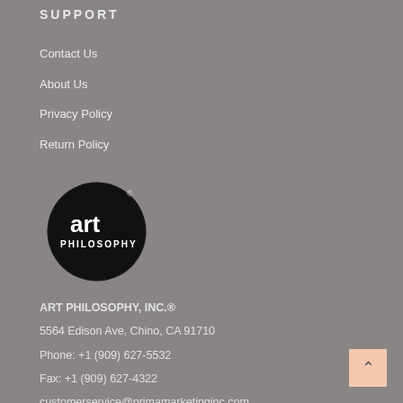SUPPORT
Contact Us
About Us
Privacy Policy
Return Policy
[Figure (logo): Art Philosophy circular black logo with white text 'art PHILOSOPHY' and a registered trademark symbol]
ART PHILOSOPHY, INC.®
5564 Edison Ave, Chino, CA 91710
Phone: +1 (909) 627-5532
Fax: +1 (909) 627-4322
customerservice@primamarketinginc.com
Office Hours:
MON-FRI: 8:30AM - 5:30PM PST